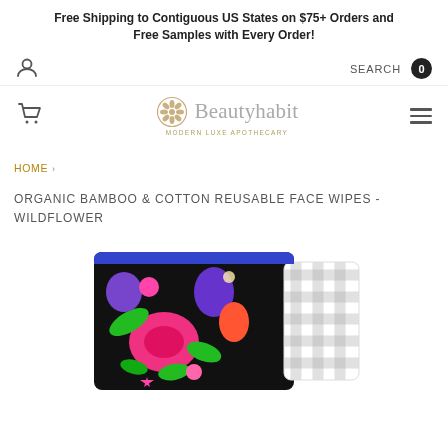Free Shipping to Contiguous US States on $75+ Orders and Free Samples with Every Order!
[Figure (logo): Beautyhabit logo with floral emblem and tagline MODERN LUXE APOTHECARY]
HOME ›
ORGANIC BAMBOO & COTTON REUSABLE FACE WIPES - WILDFLOWER
[Figure (photo): Product photo showing colorful wildflower patterned fabric face wipes next to black and white gingham patterned wipes]